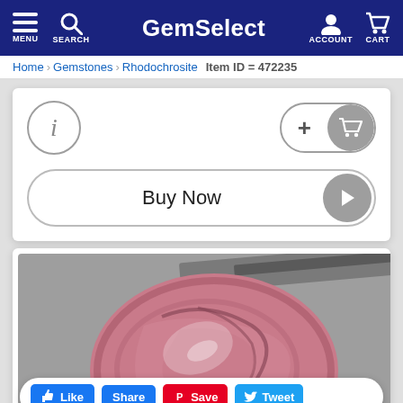GemSelect — MENU  SEARCH  ACCOUNT  CART
Home  Gemstones  Rhodochrosite  Item ID = 472235
[Figure (screenshot): Product action card with info (i) button circle, add-to-cart pill button with + and cart icon, and a Buy Now button with play arrow]
[Figure (photo): Close-up photograph of a rhodochrosite gemstone cabochon held by metal tweezers against a grey background. The stone is oval/egg shaped, pink/rose coloured with dark veining patterns.]
Like  Share  Save  Tweet